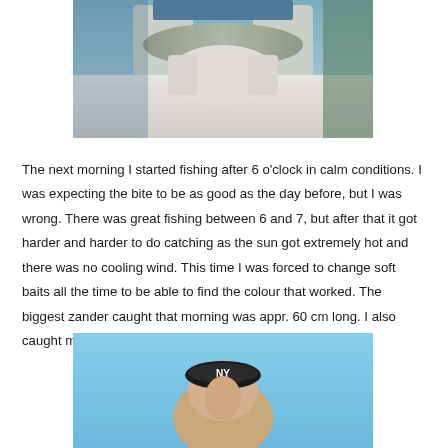[Figure (photo): Person holding a fish, photographed outdoors near water. Upper portion of image showing hands and fish against a water/nature background.]
The next morning I started fishing after 6 o'clock in calm conditions. I was expecting the bite to be as good as the day before, but I was wrong. There was great fishing between 6 and 7, but after that it got harder and harder to do catching as the sun got extremely hot and there was no cooling wind. This time I was forced to change soft baits all the time to be able to find the colour that worked. The biggest zander caught that morning was appr. 60 cm long. I also caught medium size pikes and perches.
[Figure (photo): Person wearing a NY Yankees cap photographed outdoors against a blue sky background. Bottom portion of image.]